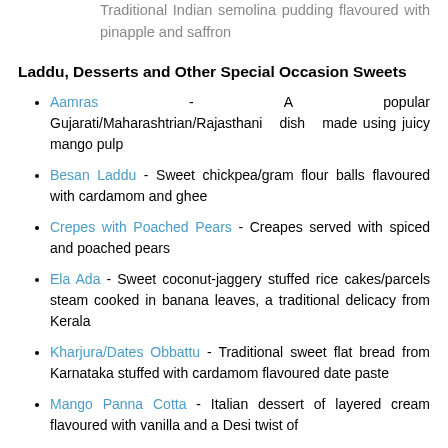Traditional Indian semolina pudding flavoured with pinapple and saffron
Laddu, Desserts and Other Special Occasion Sweets
Aamras - A popular Gujarati/Maharashtrian/Rajasthani dish made using juicy mango pulp
Besan Laddu - Sweet chickpea/gram flour balls flavoured with cardamom and ghee
Crepes with Poached Pears - Creapes served with spiced and poached pears
Ela Ada - Sweet coconut-jaggery stuffed rice cakes/parcels steam cooked in banana leaves, a traditional delicacy from Kerala
Kharjura/Dates Obbattu - Traditional sweet flat bread from Karnataka stuffed with cardamom flavoured date paste
Mango Panna Cotta - Italian dessert of layered cream flavoured with vanilla and a Desi twist of